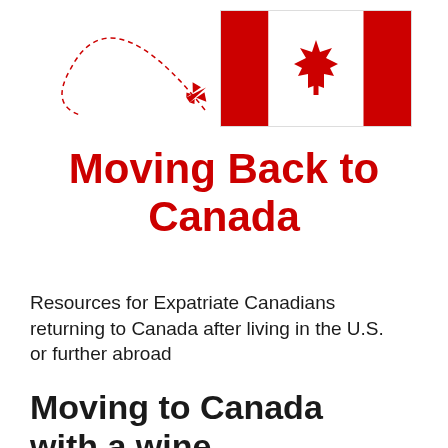[Figure (illustration): Canadian flag (red and white with maple leaf) and a red airplane silhouette with a dotted curved flight path arc to the left]
Moving Back to Canada
Resources for Expatriate Canadians returning to Canada after living in the U.S. or further abroad
Moving to Canada with a wine